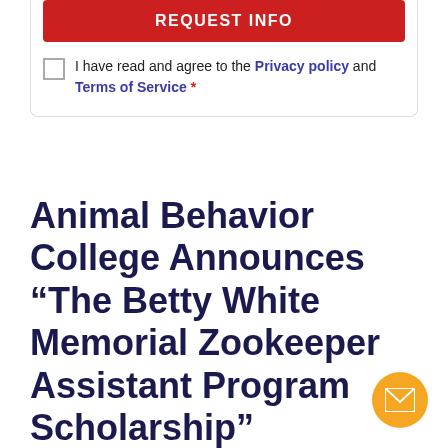REQUEST INFO
I have read and agree to the Privacy policy and Terms of Service *
Animal Behavior College Announces “The Betty White Memorial Zookeeper Assistant Program Scholarship”
[Figure (other): Orange circular mail/envelope icon button in bottom right corner]